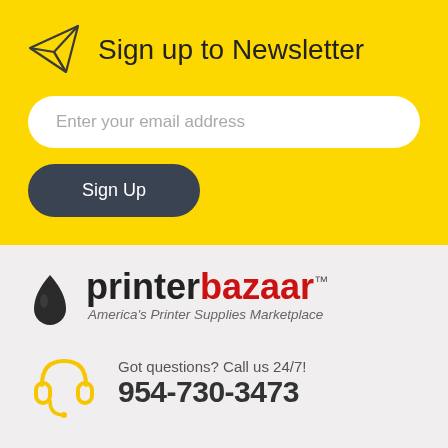Sign up to Newsletter
Enter your email address
Sign Up
[Figure (logo): PrinterBazaar logo with ink drop icon and tagline 'America's Printer Supplies Marketplace']
Got questions? Call us 24/7!
954-730-3473